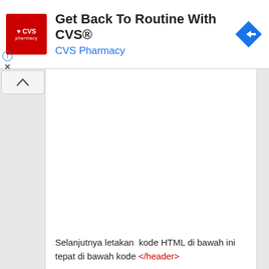[Figure (screenshot): CVS Pharmacy advertisement banner with red CVS logo, text 'Get Back To Routine With CVS®', subtitle 'CVS Pharmacy' in blue, and a blue navigation/maps icon on the right. Info icon and X close button on the lower left.]
[Figure (screenshot): Web browser UI showing a page with a left sidebar containing an up-arrow button, a white content panel (mostly blank), and a gray right edge.]
Selanjutnya letakan  kode HTML di bawah ini tepat di bawah kode </header>